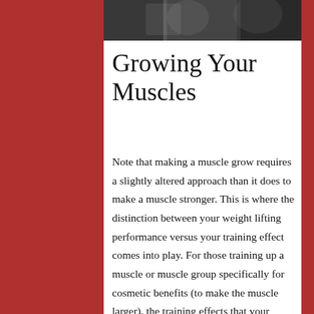[Figure (photo): Black and white photo strip showing people, cropped at the top of the page]
Growing Your Muscles
Note that making a muscle grow requires a slightly altered approach than it does to make a muscle stronger. This is where the distinction between your weight lifting performance versus your training effect comes into play. For those training up a muscle or muscle group specifically for cosmetic benefits (to make the muscle larger), the training effects that your workouts have on your muscles should